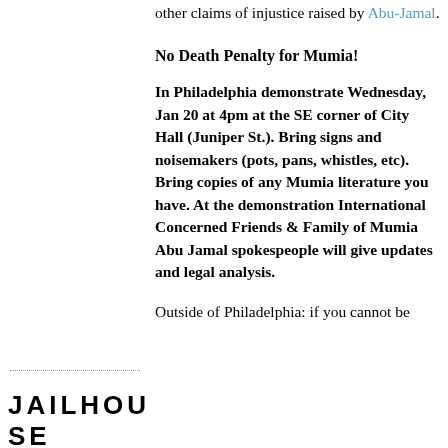other claims of injustice raised by Abu-Jamal.
No Death Penalty for Mumia!
In Philadelphia demonstrate Wednesday, Jan 20 at 4pm at the SE corner of City Hall (Juniper St.). Bring signs and noisemakers (pots, pans, whistles, etc). Bring copies of any Mumia literature you have. At the demonstration International Concerned Friends & Family of Mumia Abu Jamal spokespeople will give updates and legal analysis.
JAILHOUSE LAWYERS HANDBO
Outside of Philadelphia: if you cannot be